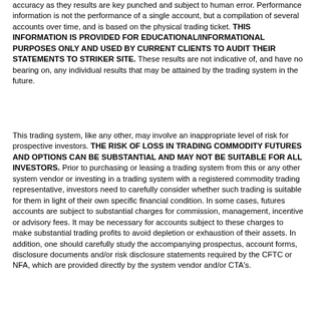accuracy as they results are key punched and subject to human error. Performance information is not the performance of a single account, but a compilation of several accounts over time, and is based on the physical trading ticket. THIS INFORMATION IS PROVIDED FOR EDUCATIONAL/INFORMATIONAL PURPOSES ONLY AND USED BY CURRENT CLIENTS TO AUDIT THEIR STATEMENTS TO STRIKER SITE. These results are not indicative of, and have no bearing on, any individual results that may be attained by the trading system in the future.
This trading system, like any other, may involve an inappropriate level of risk for prospective investors. THE RISK OF LOSS IN TRADING COMMODITY FUTURES AND OPTIONS CAN BE SUBSTANTIAL AND MAY NOT BE SUITABLE FOR ALL INVESTORS. Prior to purchasing or leasing a trading system from this or any other system vendor or investing in a trading system with a registered commodity trading representative, investors need to carefully consider whether such trading is suitable for them in light of their own specific financial condition. In some cases, futures accounts are subject to substantial charges for commission, management, incentive or advisory fees. It may be necessary for accounts subject to these charges to make substantial trading profits to avoid depletion or exhaustion of their assets. In addition, one should carefully study the accompanying prospectus, account forms, disclosure documents and/or risk disclosure statements required by the CFTC or NFA, which are provided directly by the system vendor and/or CTA's.
The information contained in this report is provided with the objective of "standardizing" trading systems measurements, and it is intended for educational /informational purposes only. All information is offered with the understanding that an investor considering purchasing or leasing a system must carry out his/her own research and due diligence in deciding whether to purchase or lease a trading system or should be guided by this report.